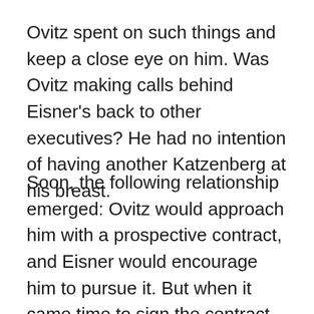Ovitz spent on such things and keep a close eye on him. Was Ovitz making calls behind Eisner’s back to other executives? He had no intention of having another Katzenberg at his breast.
Soon, the following relationship emerged: Ovitz would approach him with a prospective contract, and Eisner would encourage him to pursue it. But when it came time to sign the contract, Eisner would say “no.” Slowly, word got around that Ovitz had lost his touch and